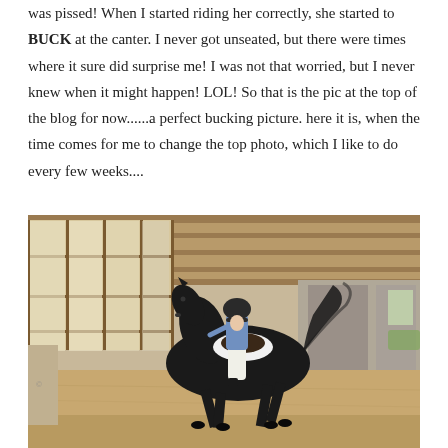was pissed! When I started riding her correctly, she started to BUCK at the canter. I never got unseated, but there were times where it sure did surprise me! I was not that worried, but I never knew when it might happen! LOL! So that is the pic at the top of the blog for now......a perfect bucking picture. here it is, when the time comes for me to change the top photo, which I like to do every few weeks....
[Figure (photo): A rider wearing a blue top and riding helmet sits atop a black horse cantering inside a wooden indoor arena with large windows on the left side letting in natural light. The horse's tail is raised and motion blur is visible on the tail. Sandy arena footing is visible below.]